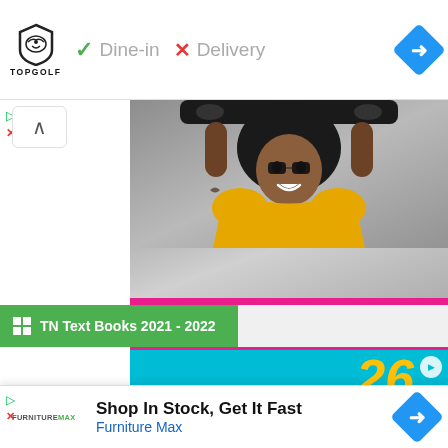[Figure (screenshot): Top navigation bar with Topgolf logo, Dine-in checkmark, Delivery X mark, and blue navigation arrow]
✓ Dine-in   ✕ Delivery
[Figure (photo): HealthCare.gov advertisement banner showing a young Black woman in a yellow shirt holding a skateboard above her head, with pink banner showing HealthCare.gov logo and LEARN MORE button]
[Figure (screenshot): TN Text Books 2021 - 2022 green bar with grid icon]
[Figure (photo): Teal advertisement banner partially visible, showing is here for you text and Limited time to enroll]
[Figure (screenshot): Bottom overlay ad for Furniture Max: Shop In Stock, Get It Fast with blue navigation arrow]